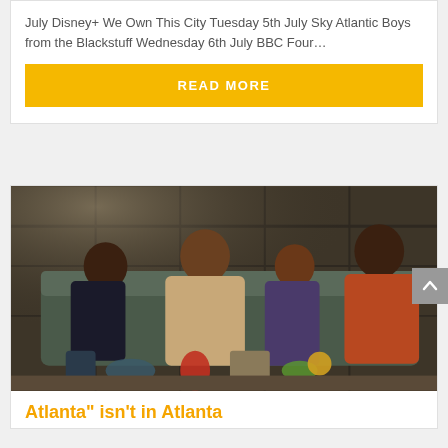July Disney+ We Own This City Tuesday 5th July Sky Atlantic Boys from the Blackstuff Wednesday 6th July BBC Four…
READ MORE
[Figure (photo): Four people sitting on a couch in a dimly lit room with paneled walls. From left: a young man in black, a man in a beige jacket, a woman leaning back, and a man in an orange shirt. Various items on table in front of them.]
Atlanta" isn't in Atlanta